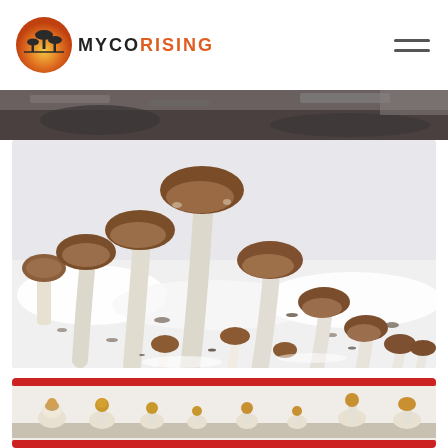[Figure (logo): MycoRising logo with mushroom icon on orange/gradient circular background and hamburger menu icon]
[Figure (photo): Partial top strip of a photo showing what appears to be a substrate or growing medium with dark soil]
[Figure (photo): Main photo of multiple mushrooms (psilocybe-type) growing from white substrate/mycelium in a container, showing various stages of growth with brown caps]
[Figure (photo): Bottom strip photo showing mushrooms growing in a clear container with red edges, early pinning stage]